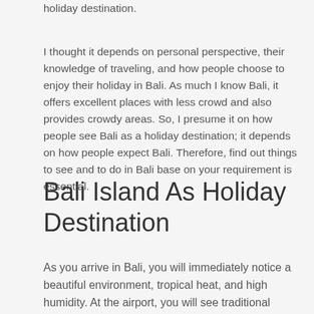holiday destination.
I thought it depends on personal perspective, their knowledge of traveling, and how people choose to enjoy their holiday in Bali. As much I know Bali, it offers excellent places with less crowd and also provides crowdy areas. So, I presume it on how people see Bali as a holiday destination; it depends on how people expect Bali. Therefore, find out things to see and to do in Bali base on your requirement is essential.
Bali Island As Holiday Destination
As you arrive in Bali, you will immediately notice a beautiful environment, tropical heat, and high humidity. At the airport, you will see traditional